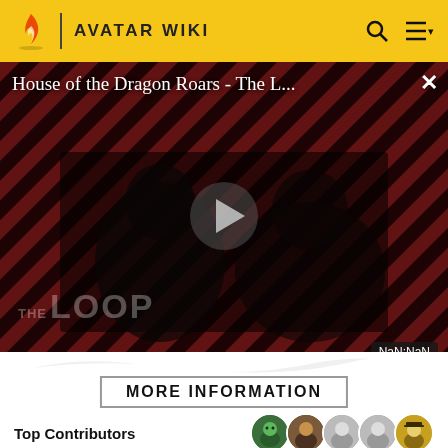AVATAR WIKI
[Figure (screenshot): Video player thumbnail showing 'House of the Dragon Roars - The L...' with diagonal red/black stripe background, two dark figures, a play button in center, 'THE LOOP' text overlay at bottom left, and 'NaN:NaN' duration badge at bottom right. A close (X) button is at top right.]
MORE INFORMATION
Top Contributors